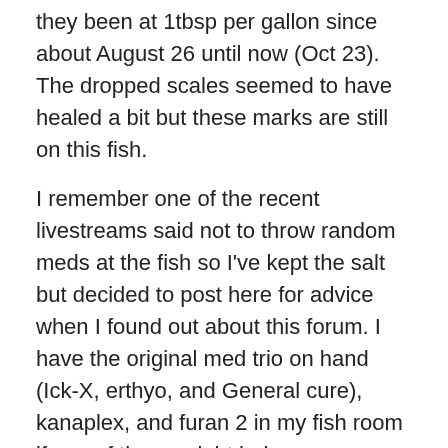they been at 1tbsp per gallon since about August 26 until now (Oct 23).  The dropped scales seemed to have healed a bit but these marks are still on this fish.
I remember one of the recent livestreams said not to throw random meds at the fish so I've kept the salt but decided to post here for advice when I found out about this forum.  I have the original med trio on hand (Ick-X, erthyo, and General cure), kanaplex, and furan 2 in my fish room if any of these might help.
I changed the water 2-3 times a week in this tank as the poop starts to be noticeable on the bare bottom tank.  I replace the salt for the water removed.  I do either a 25% or 50% water change.